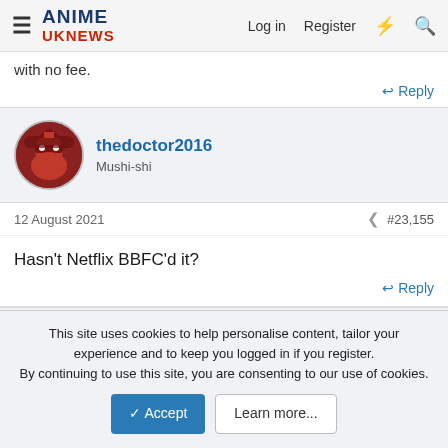Anime UK News — Log in  Register
with no fee.
Reply
thedoctor2016
Mushi-shi
12 August 2021  #23,155
Hasn't Netflix BBFC'd it?
Reply
NormanicGrav
This site uses cookies to help personalise content, tailor your experience and to keep you logged in if you register.
By continuing to use this site, you are consenting to our use of cookies.
Accept  Learn more...